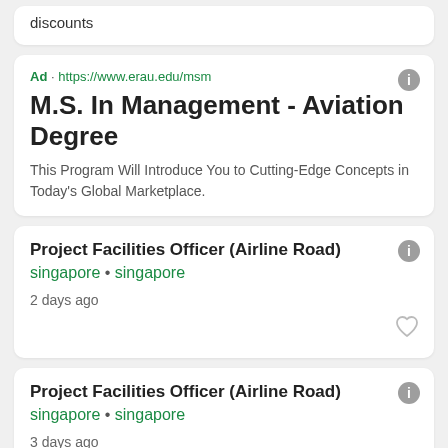discounts
Ad · https://www.erau.edu/msm
M.S. In Management - Aviation Degree
This Program Will Introduce You to Cutting-Edge Concepts in Today's Global Marketplace.
Project Facilities Officer (Airline Road)
singapore • singapore
2 days ago
Project Facilities Officer (Airline Road)
singapore • singapore
3 days ago
Sales Executive (East/ Japanese Speaking/ Airline/ Up to...
TRUST RECRUIT PTE. • singapore